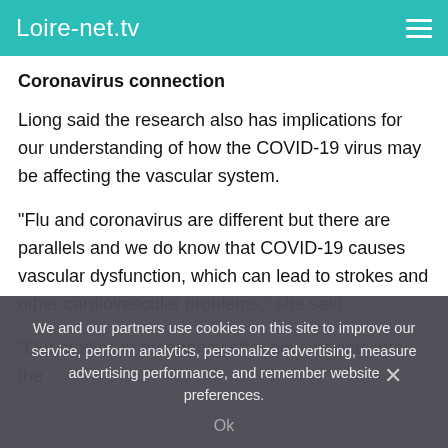Loire-net.tv
Coronavirus connection
Liong said the research also has implications for our understanding of how the COVID-19 virus may be affecting the vascular system.
“Flu and coronavirus are different but there are parallels and we do know that COVID-19 causes vascular dysfunction, which can lead to strokes and other cardiovascular problems,” she said.
“Our studies in pregnancy offer new insights into the
We and our partners use cookies on this site to improve our service, perform analytics, personalize advertising, measure advertising performance, and remember website preferences.